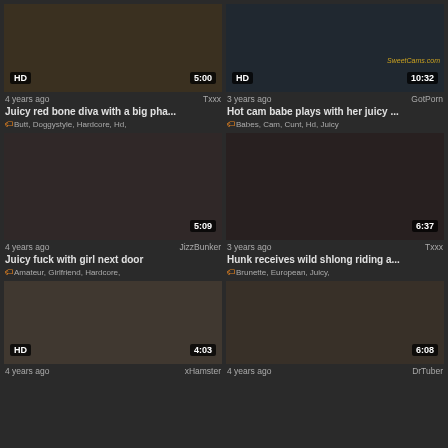[Figure (screenshot): Thumbnail 1: HD video, 5:00 duration. 4 years ago, Txxx. Title: Juicy red bone diva with a big pha... Tags: Butt, Doggystyle, Hardcore, Hd]
[Figure (screenshot): Thumbnail 2: HD video, 10:32 duration, SweetCams.com watermark. 3 years ago, GotPorn. Title: Hot cam babe plays with her juicy ... Tags: Babes, Cam, Cunt, Hd, Juicy]
[Figure (screenshot): Thumbnail 3: 5:09 duration. 4 years ago, JizzBunker. Title: Juicy fuck with girl next door. Tags: Amateur, Girlfriend, Hardcore]
[Figure (screenshot): Thumbnail 4: 6:37 duration. 3 years ago, Txxx. Title: Hunk receives wild shlong riding a... Tags: Brunette, European, Juicy]
[Figure (screenshot): Thumbnail 5: HD video, 4:03 duration. 4 years ago, xHamster (partial). Tags: (partial)]
[Figure (screenshot): Thumbnail 6: 6:08 duration. 4 years ago, DrTuber (partial). Tags: (partial)]